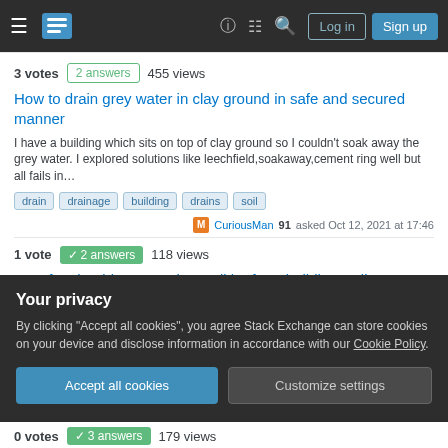Stack Exchange navigation header with hamburger menu, logo, help, chat, search icons, Log in and Sign up buttons
3 votes  2 answers  455 views
How to drain grey water in clay ground in safe and secured manner
I have a building which sits on top of clay ground so I couldn't soak away the grey water. I explored solutions like leechfield,soakaway,cement ring well but all fails in…
drain  drainage  building  drains  soil
CuriousMan 91 asked Oct 12, 2021 at 17:46
1 vote  2 answers  118 views
How far should cement ring well be from building wall
Your privacy
By clicking "Accept all cookies", you agree Stack Exchange can store cookies on your device and disclose information in accordance with our Cookie Policy.
Accept all cookies  Customize settings
0 votes  3 answers  179 views